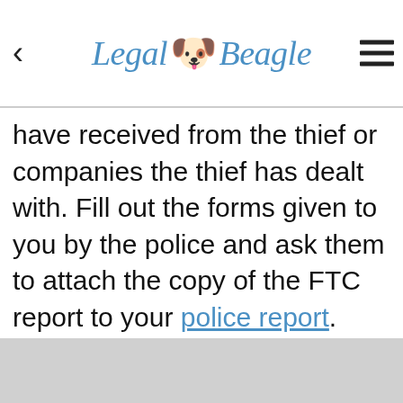Legal Beagle
have received from the thief or companies the thief has dealt with. Fill out the forms given to you by the police and ask them to attach the copy of the FTC report to your police report.